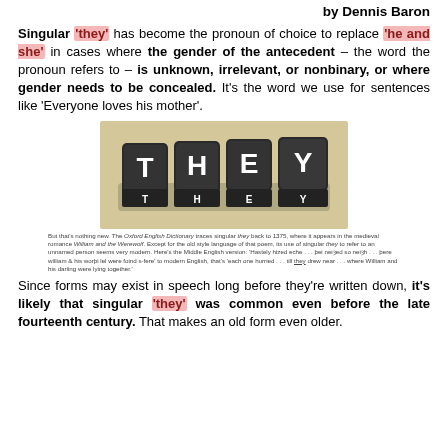by Dennis Baron
Singular 'they' has become the pronoun of choice to replace 'he and she' in cases where the gender of the antecedent – the word the pronoun refers to – is unknown, irrelevant, or nonbinary, or where gender needs to be concealed. It's the word we use for sentences like 'Everyone loves his mother'.
[Figure (photo): Four dark dice/cubes spelling out THEY with white letters on a tan/beige background, with THEY also visible on the front face of the cubes]
But that's nothing new. The Oxford English Dictionary traces singular they back to 1375, where it appears in the medieval romance William and the Werewolf. Except for the old style language of that poem, its use of singular they to refer to an unnamed person seems very modern. Here's the Middle English version: 'Hastely hized eche . . . þei neiȝed so neiȝh . . . þere william & his worþi lel were foind s-fere' to modern English, that's 'each one hurried . . . till they drew near . . . where William and his darling were lying together.'
Since forms may exist in speech long before they're written down, it's likely that singular 'they' was common even before the late fourteenth century. That makes an old form even older.